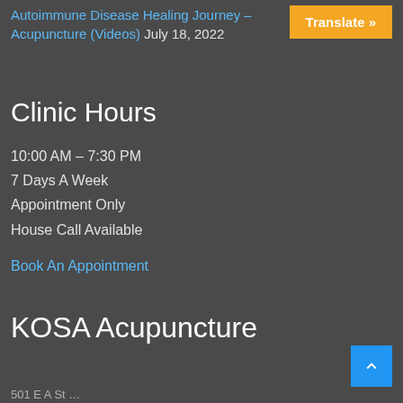Autoimmune Disease Healing Journey – Acupuncture (Videos) July 18, 2022
Clinic Hours
10:00 AM – 7:30 PM
7 Days A Week
Appointment Only
House Call Available
Book An Appointment
KOSA Acupuncture